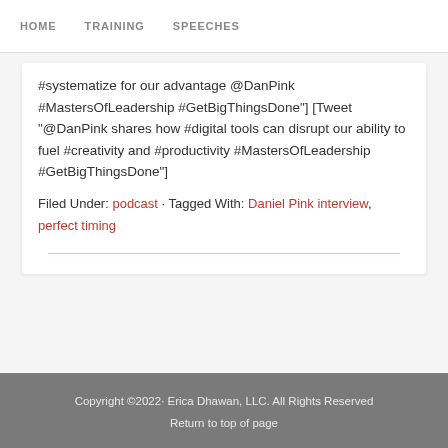HOME  TRAINING  SPEECHES
#systematize for our advantage @DanPink #MastersOfLeadership #GetBigThingsDone"] [Tweet "@DanPink shares how #digital tools can disrupt our ability to fuel #creativity and #productivity #MastersOfLeadership #GetBigThingsDone"]
Filed Under: podcast · Tagged With: Daniel Pink interview, perfect timing
Copyright ©2022· Erica Dhawan, LLC. All Rights Reserved
Return to top of page